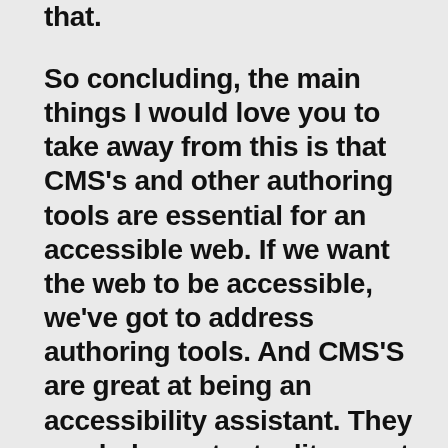that.
So concluding, the main things I would love you to take away from this is that CMS's and other authoring tools are essential for an accessible web. If we want the web to be accessible, we've got to address authoring tools. And CMS'S are great at being an accessibility assistant. They can help content editors get accessibility rights. So yeah, please do spread that message. If your client is thinking about purchasing a new CMS, or if you are selling CMS's or other tools